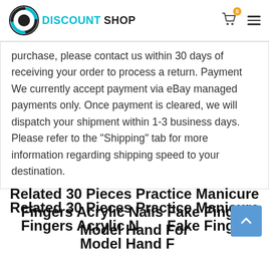DISCOUNT SHOP
purchase, please contact us within 30 days of receiving your order to process a return. Payment We currently accept payment via eBay managed payments only. Once payment is cleared, we will dispatch your shipment within 1-3 business days. Please refer to the "Shipping" tab for more information regarding shipping speed to your destination.
Related 30 Pieces Practice Manicure Fingers Acrylic Nails Fake Finger Model Hand For